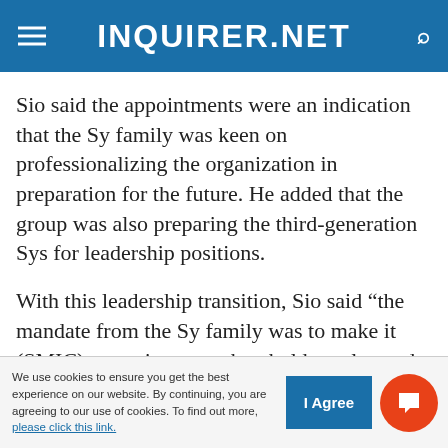INQUIRER.NET
Sio said the appointments were an indication that the Sy family was keen on professionalizing the organization in preparation for the future. He added that the group was also preparing the third-generation Sys for leadership positions.
With this leadership transition, Sio said “the mandate from the Sy family was to make it (SMIC) grow, increase shareholder value and be happy.”
Henry Sy Sr., who attended the stockholders
We use cookies to ensure you get the best experience on our website. By continuing, you are agreeing to our use of cookies. To find out more, please click this link.